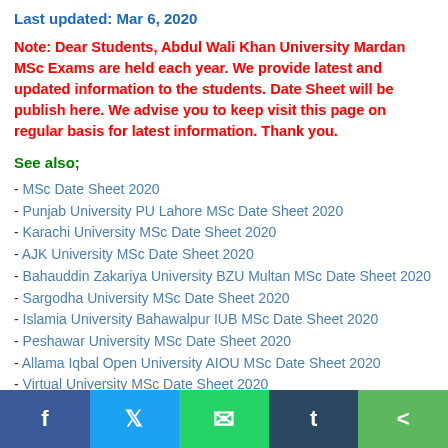Last updated: Mar 6, 2020
Note: Dear Students, Abdul Wali Khan University Mardan MSc Exams are held each year. We provide latest and updated information to the students. Date Sheet will be publish here. We advise you to keep visit this page on regular basis for latest information. Thank you.
See also;
MSc Date Sheet 2020
Punjab University PU Lahore MSc Date Sheet 2020
Karachi University MSc Date Sheet 2020
AJK University MSc Date Sheet 2020
Bahauddin Zakariya University BZU Multan MSc Date Sheet 2020
Sargodha University MSc Date Sheet 2020
Islamia University Bahawalpur IUB MSc Date Sheet 2020
Peshawar University MSc Date Sheet 2020
Allama Iqbal Open University AIOU MSc Date Sheet 2020
Virtual University MSc Date Sheet 2020
Hazara University Mansehra MSc Date Sheet 2020
University of Balochistan Quetta MSc Date Sheet 2020
Social share bar: Facebook, Twitter, WhatsApp, Tumblr, Share